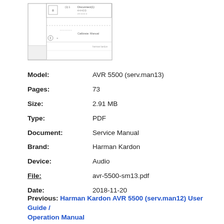[Figure (schematic): Thumbnail image of a Harman Kardon AVR 5500 service manual schematic diagram page showing circuit layout lines and component labels]
| Model: | AVR 5500 (serv.man13) |
| Pages: | 73 |
| Size: | 2.91 MB |
| Type: | PDF |
| Document: | Service Manual |
| Brand: | Harman Kardon |
| Device: | Audio |
| File: | avr-5500-sm13.pdf |
| Date: | 2018-11-20 |
Previous: Harman Kardon AVR 5500 (serv.man12) User Guide / Operation Manual